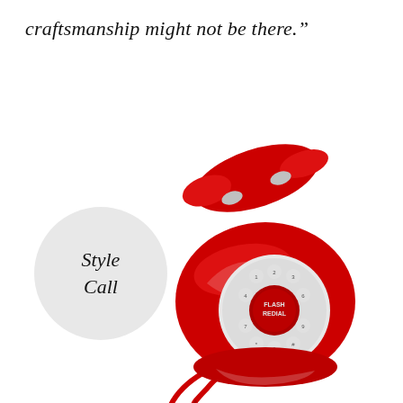craftsmanship might not be there.”
[Figure (illustration): A bright red retro/vintage push-button telephone with a circular dial keypad in the center, a coiled red cord, and chrome handset rests on top. A light grey speech bubble circle overlaps on the left side of the phone containing the italic text ‘Style Call’.]